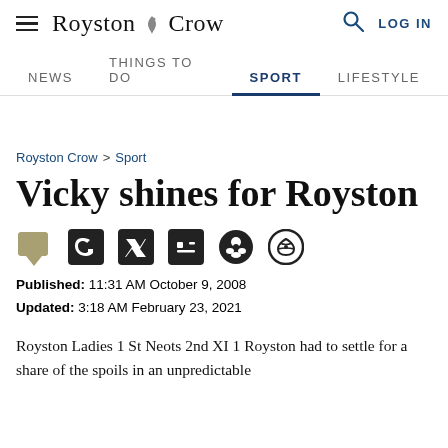Royston Crow — NEWS | THINGS TO DO | SPORT | LIFESTYLE | LOG IN
Royston Crow > Sport
Vicky shines for Royston
Published: 11:31 AM October 9, 2008
Updated: 3:18 AM February 23, 2021
Royston Ladies 1 St Neots 2nd XI 1 Royston had to settle for a share of the spoils in an unpredictable